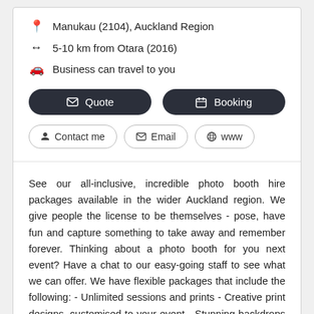Manukau (2104), Auckland Region
5-10 km from Otara (2016)
Business can travel to you
Quote
Booking
Contact me
Email
www
See our all-inclusive, incredible photo booth hire packages available in the wider Auckland region. We give people the license to be themselves - pose, have fun and capture something to take away and remember forever. Thinking about a photo booth for you next event? Have a chat to our easy-going staff to see what we can offer. We have flexible packages that include the following: - Unlimited sessions and prints - Creative print designs, customised to your event - Stunning backdrops -... Read more
Six Sixty Six Catering
Catering, Food & Drinks > Caterers & Catering Companies